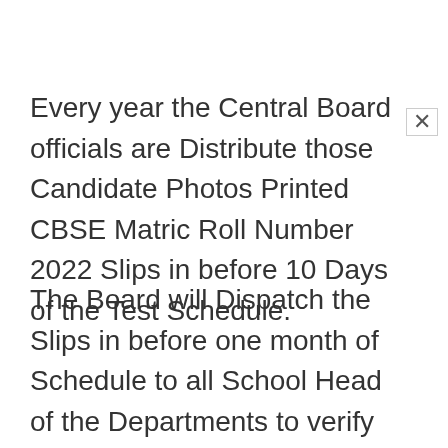Every year the Central Board officials are Distribute those Candidate Photos Printed CBSE Matric Roll Number 2022 Slips in before 10 Days of the Test Schedule.
The Board will Dispatch the Slips in before one month of Schedule to all School Head of the Departments to verify those Admit Cards for avoid inconveniences on exams for Regular